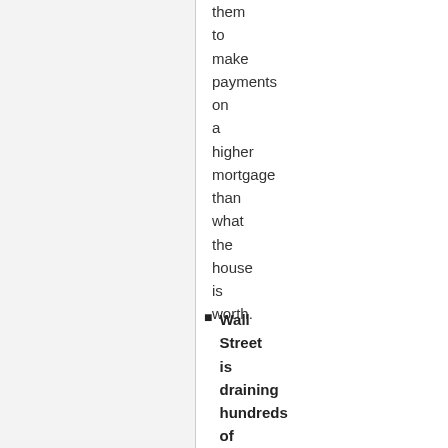them to make payments on a higher mortgage than what the house is worth.
Wall Street is draining hundreds of billions of dollars from